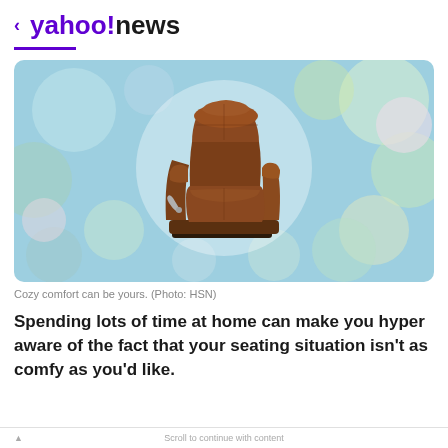< yahoo!news
[Figure (photo): A brown leather recliner chair centered on a soft bokeh background with pastel blue, mint, pink and white circular light bokeh effects.]
Cozy comfort can be yours. (Photo: HSN)
Spending lots of time at home can make you hyper aware of the fact that your seating situation isn't as comfy as you'd like.
Scroll to continue with content